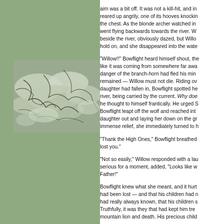[Figure (illustration): Watercolor/ink illustration of swirling water or clouds with dark branch-like patterns, rendered in muted greens and grays]
aim was a bit off. It was not a kill-hit, and in reared up angrily, one of its hooves knockin the chest. As the blonde archer watched in went flying backwards towards the river. W beside the river, obviously dazed, but Willo hold on, and she disappeared into the wate
"Willow!!" Bowflight heard himself shout, the like it was coming from somewhere far awa danger of the branch-horn had fled his min remained — Willow must not die. Riding ov daughter had fallen in, Bowflight spotted he river, being carried by the current. Why doe he thought to himself frantically. He urged S Bowflight leapt off the wolf and reached int daughter out and laying her down on the gr immense relief, she immediately turned to h
"Thank the High Ones," Bowflight breathed lost you."
"Not so easily," Willow responded with a lau serious for a moment, added, "Looks like w Father!"
Bowflight knew what she meant, and it hurt had been lost — and that his children had n had really always known, that his children s Truthfully, it was they that had kept him tre mountain lion and death. His precious child